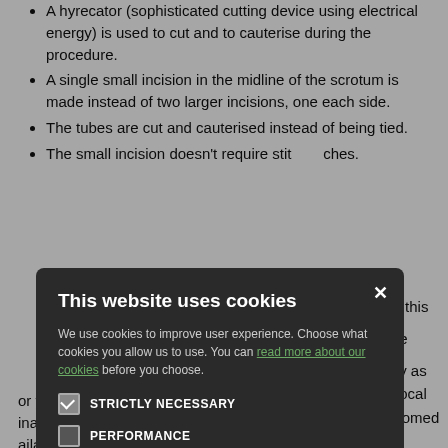A hyrecator (sophisticated cutting device using electrical energy) is used to cut and to cauterise during the procedure.
A single small incision in the midline of the scrotum is made instead of two larger incisions, one each side.
The tubes are cut and cauterised instead of being tied.
The small incision doesn't require stitches.
[partial text visible] ...ed just for this
[partial text visible] ...lly invasive
[partial text visible] ...vasectomy as ...id-acting local ...ease welcomed ...ands of a ...(n) with many ...nks via M25 and ...arge free
[partial] ...or you, make ...inately ...ailable as an NHS treatment in Mid-Essex, but we are able to offer patient funded NSV at an affordable price here at Stock
[Figure (screenshot): Cookie consent dialog overlay on a dark semi-transparent background. Title: 'This website uses cookies'. Body text: 'We use cookies to improve user experience. Choose what cookies you allow us to use. You can read more about our cookies before you choose.' Checkboxes for: STRICTLY NECESSARY (checked), PERFORMANCE (unchecked), TARGETING (unchecked), FUNCTIONALITY (unchecked). Buttons: ACCEPT ALL (green) and DECLINE ALL (outline). Close X button top right.]